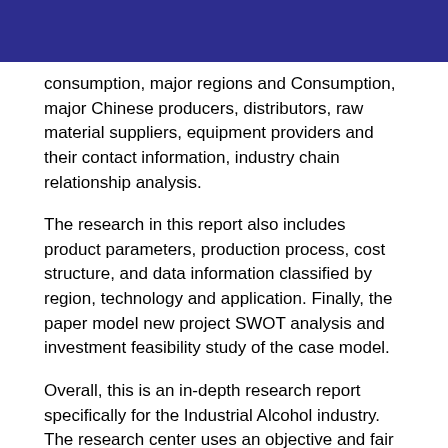consumption, major regions and Consumption, major Chinese producers, distributors, raw material suppliers, equipment providers and their contact information, industry chain relationship analysis.
The research in this report also includes product parameters, production process, cost structure, and data information classified by region, technology and application. Finally, the paper model new project SWOT analysis and investment feasibility study of the case model.
Overall, this is an in-depth research report specifically for the Industrial Alcohol industry. The research center uses an objective and fair way to conduct an in-depth analysis of the development trend of the industry, providing support and evidence for customer competition analysis, development planning, and investment decision-making. In the course of operation, the project has received